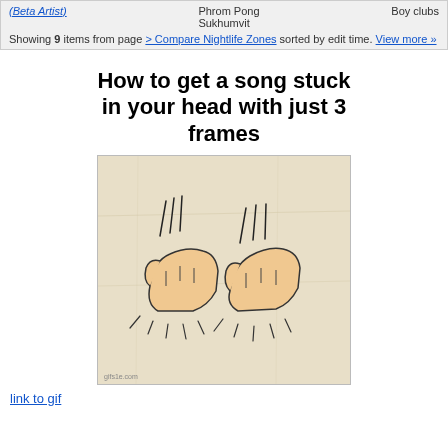| (Beta Artist) | Phrom Pong Sukhumvit | Boy clubs |
Showing 9 items from page > Compare Nightlife Zones sorted by edit time. View more »
How to get a song stuck in your head with just 3 frames
[Figure (illustration): Animated GIF still frame showing two drawn fists bumping together with motion lines indicating movement, on a crumpled paper background. Watermark: gifs1e.com]
link to gif